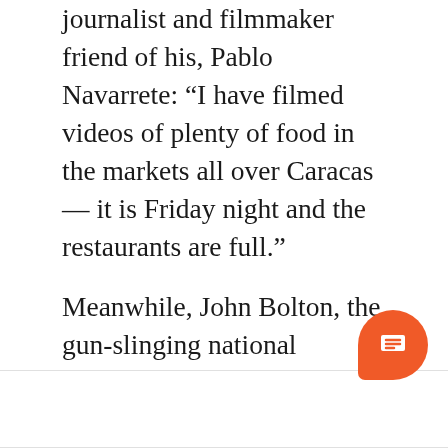journalist and filmmaker friend of his, Pablo Navarrete: “I have filmed videos of plenty of food in the markets all over Caracas — it is Friday night and the restaurants are full.”
Meanwhile, John Bolton, the gun-slinging national security adviser in the White House, has made no secret of his targets in Latin America — Brazil, Venezuela and Nicaragua. These are, by Mr Bolton’s definition, “the Troika of Tyranny”. One of his targets, President Lula da Silva, has already been pulverised out of action.